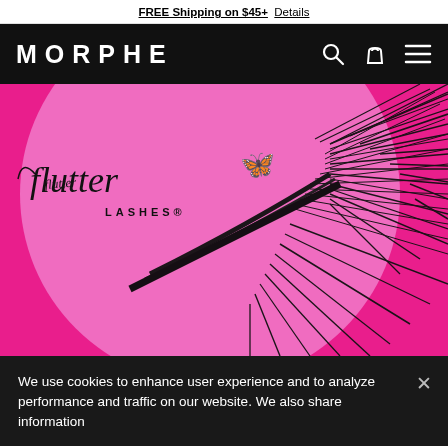FREE Shipping on $45+  Details
MORPHE
[Figure (photo): Flutter Lashes product photo showing black false eyelashes fanned out on a bright pink circular packaging background with the Flutter Lashes brand logo in script font with a butterfly icon]
We use cookies to enhance user experience and to analyze performance and traffic on our website. We also share information